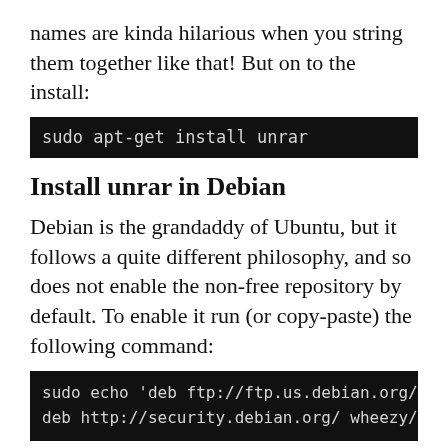names are kinda hilarious when you string them together like that! But on to the install:
sudo apt-get install unrar
Install unrar in Debian
Debian is the grandaddy of Ubuntu, but it follows a quite different philosophy, and so does not enable the non-free repository by default. To enable it run (or copy-paste) the following command:
sudo echo 'deb ftp://ftp.us.debian.org/debian/ wheezy non-free deb http://security.debian.org/ wheezy/updates non-free deb http
If by the time you read this you're running a newer version than Debian 7 (codenamed “wheezy”), just replace “wheezy” above with the new codename.